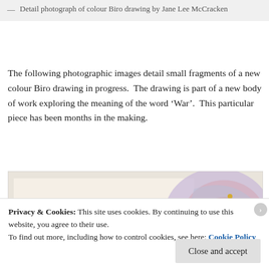— Detail photograph of colour Biro drawing by Jane Lee McCracken
The following photographic images detail small fragments of a new colour Biro drawing in progress.  The drawing is part of a new body of work exploring the meaning of the word ‘War’.  This particular piece has been months in the making.
[Figure (photo): Partial photograph of a colour Biro drawing in progress, showing intricate colourful details on the right side and a light cream/white paper area on the left.]
Privacy & Cookies: This site uses cookies. By continuing to use this website, you agree to their use.
To find out more, including how to control cookies, see here: Cookie Policy